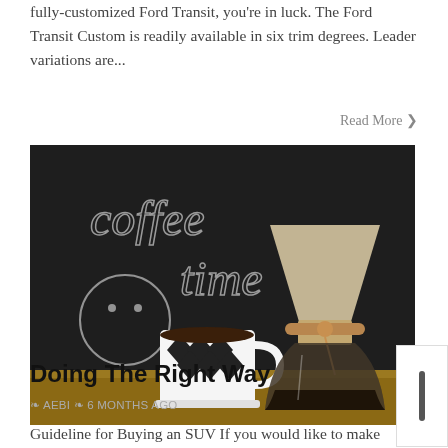fully-customized Ford Transit, you're in luck. The Ford Transit Custom is readily available in six trim degrees. Leader variations are...
Read More ❯
[Figure (photo): A dark chalkboard background with 'coffee time' written in chalk and a smiley face, with a black-and-white diamond patterned coffee mug and a Chemex pour-over coffee maker on a wooden surface.]
Doing The Right Way
❧ AEBI ❧ 6 MONTHS AGO
Guideline for Buying an SUV If you would like to make